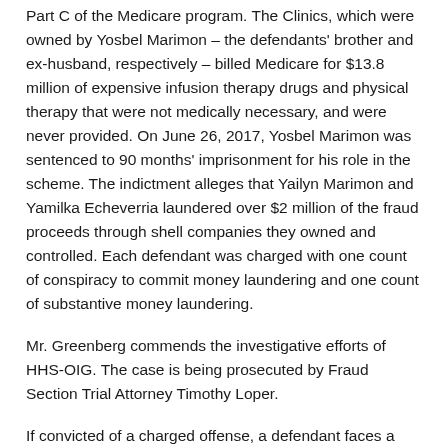Part C of the Medicare program. The Clinics, which were owned by Yosbel Marimon – the defendants' brother and ex-husband, respectively – billed Medicare for $13.8 million of expensive infusion therapy drugs and physical therapy that were not medically necessary, and were never provided. On June 26, 2017, Yosbel Marimon was sentenced to 90 months' imprisonment for his role in the scheme. The indictment alleges that Yailyn Marimon and Yamilka Echeverria laundered over $2 million of the fraud proceeds through shell companies they owned and controlled. Each defendant was charged with one count of conspiracy to commit money laundering and one count of substantive money laundering.
Mr. Greenberg commends the investigative efforts of HHS-OIG. The case is being prosecuted by Fraud Section Trial Attorney Timothy Loper.
If convicted of a charged offense, a defendant faces a possible